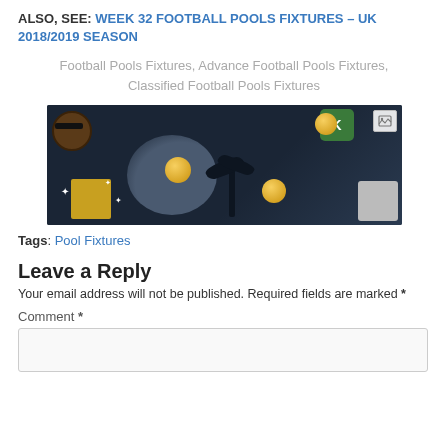ALSO, SEE: WEEK 32 FOOTBALL POOLS FIXTURES – UK 2018/2019 SEASON
Football Pools Fixtures, Advance Football Pools Fixtures, Classified Football Pools Fixtures
[Figure (illustration): Dark gaming-themed illustration showing a tropical island scene at night with coins, a bear character, green tile, castle, and dice scattered around.]
Tags: Pool Fixtures
Leave a Reply
Your email address will not be published. Required fields are marked *
Comment *